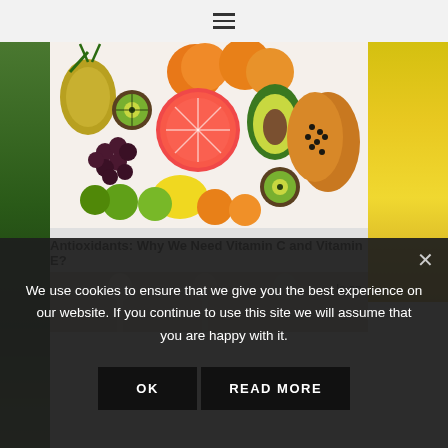≡ (hamburger menu icon)
[Figure (photo): Overhead flat-lay photo of assorted tropical and citrus fruits: pineapple, oranges, grapefruit, avocado, papaya, kiwi, limes, lemon, grapes, on a white background.]
Antioxidants: Why We Need Vitamin C and Vitamin E?
[Figure (photo): Partially visible second article image showing items in dark background with 'Is an' text visible on the right side.]
We use cookies to ensure that we give you the best experience on our website. If you continue to use this site we will assume that you are happy with it.
OK   READ MORE